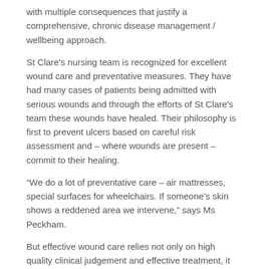with multiple consequences that justify a comprehensive, chronic disease management / wellbeing approach.
St Clare's nursing team is recognized for excellent wound care and preventative measures. They have had many cases of patients being admitted with serious wounds and through the efforts of St Clare's team these wounds have healed. Their philosophy is first to prevent ulcers based on careful risk assessment and – where wounds are present – commit to their healing.
“We do a lot of preventative care – air mattresses, special surfaces for wheelchairs. If someone’s skin shows a reddened area we intervene,” says Ms Peckham.
But effective wound care relies not only on high quality clinical judgement and effective treatment, it also requires documentation that can prove the quality of care that was delivered and provide invaluable information for decision-making and communication.
The search for a solution